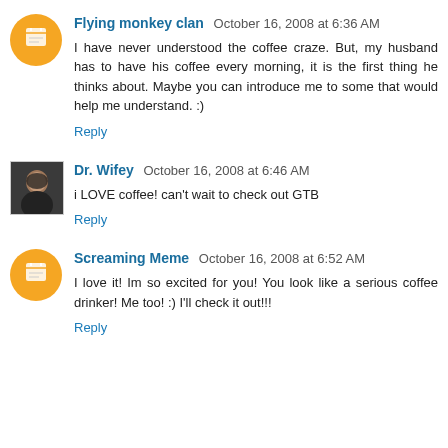Flying monkey clan  October 16, 2008 at 6:36 AM
I have never understood the coffee craze. But, my husband has to have his coffee every morning, it is the first thing he thinks about. Maybe you can introduce me to some that would help me understand. :)
Reply
Dr. Wifey  October 16, 2008 at 6:46 AM
i LOVE coffee! can't wait to check out GTB
Reply
Screaming Meme  October 16, 2008 at 6:52 AM
I love it! Im so excited for you! You look like a serious coffee drinker! Me too! :) I'll check it out!!!
Reply